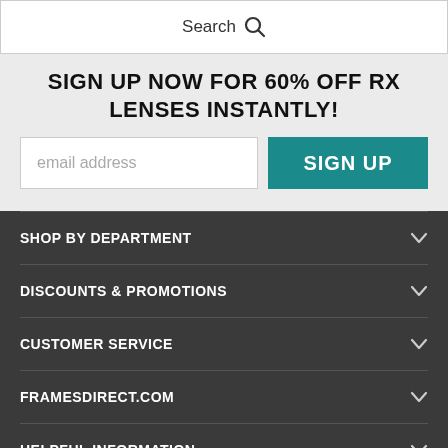Search
SIGN UP NOW FOR 60% OFF RX LENSES INSTANTLY!
email address
SIGN UP
SHOP BY DEPARTMENT
DISCOUNTS & PROMOTIONS
CUSTOMER SERVICE
FRAMESDIRECT.COM
HELPFUL INFORMATION